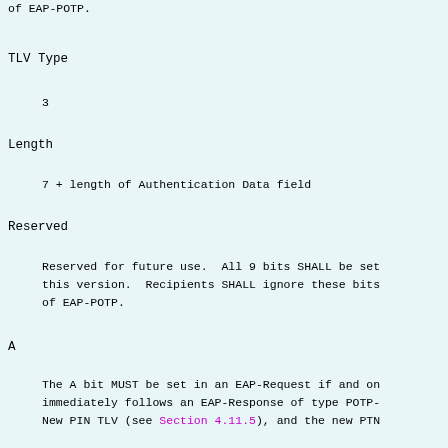of EAP-POTP.
TLV Type
3
Length
7 + length of Authentication Data field
Reserved
Reserved for future use.  All 9 bits SHALL be set this version.  Recipients SHALL ignore these bits of EAP-POTP.
A
The A bit MUST be set in an EAP-Request if and on immediately follows an EAP-Response of type POTP- New PIN TLV (see Section 4.11.5), and the new PTN